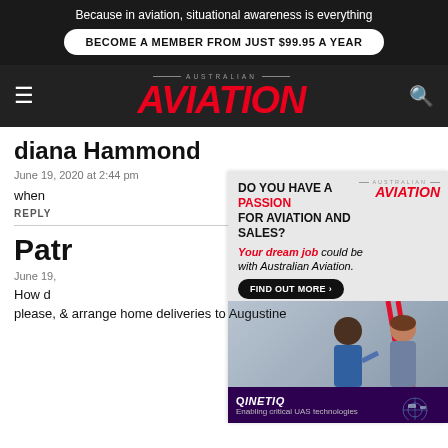Because in aviation, situational awareness is everything
BECOME A MEMBER FROM JUST $99.95 A YEAR
[Figure (logo): Australian Aviation logo in red italic bold text with 'AUSTRALIAN' small text above]
diana Hammond
June 19, 2020 at 2:44 pm
when
REPLY
Patr
June 19,
How d
[Figure (infographic): Australian Aviation advertisement: DO YOU HAVE A PASSION FOR AVIATION AND SALES? Your dream job could be with Australian Aviation. FIND OUT MORE button. Below: QinetiQ Enabling critical UAS technologies banner.]
please, & arrange home deliveries to Augustine